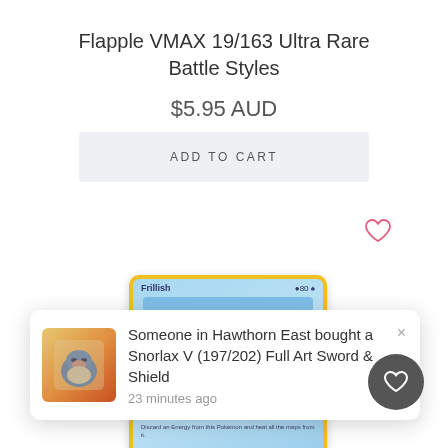Flapple VMAX 19/163 Ultra Rare Battle Styles
$5.95 AUD
ADD TO CART
[Figure (illustration): Pokemon card showing Frillish with HP 80, blue watery background, Recover move listed at bottom]
Someone in Hawthorn East bought a Snorlax V (197/202) Full Art Sword & Shield
23 minutes ago